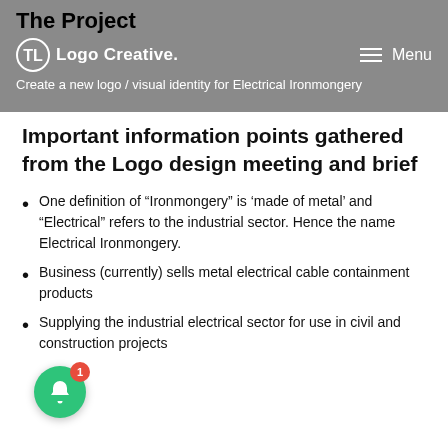The Project
[Figure (logo): Logo Creative logo with circular icon and text, navigation bar with menu]
Create a new logo / visual identity for Electrical Ironmongery
Important information points gathered from the Logo design meeting and brief
One definition of “Ironmongery” is ‘made of metal’ and “Electrical” refers to the industrial sector. Hence the name Electrical Ironmongery.
Business (currently) sells metal electrical cable containment products
Supplying the industrial electrical sector for use in civil and construction projects